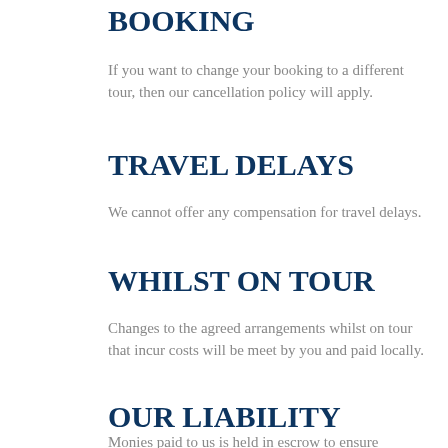BOOKING
If you want to change your booking to a different tour, then our cancellation policy will apply.
TRAVEL DELAYS
We cannot offer any compensation for travel delays.
WHILST ON TOUR
Changes to the agreed arrangements whilst on tour that incur costs will be meet by you and paid locally.
OUR LIABILITY
Monies paid to us is held in escrow to ensure